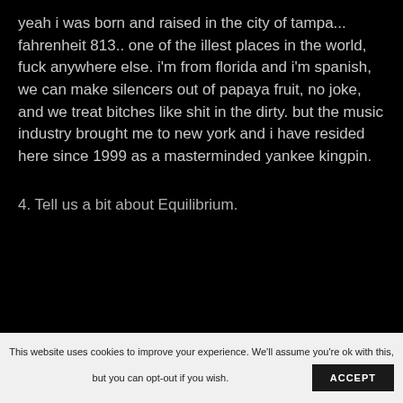yeah i was born and raised in the city of tampa... fahrenheit 813.. one of the illest places in the world, fuck anywhere else. i'm from florida and i'm spanish, we can make silencers out of papaya fruit, no joke, and we treat bitches like shit in the dirty. but the music industry brought me to new york and i have resided here since 1999 as a masterminded yankee kingpin.
4. Tell us a bit about Equilibrium.
This website uses cookies to improve your experience. We'll assume you're ok with this, but you can opt-out if you wish. ACCEPT